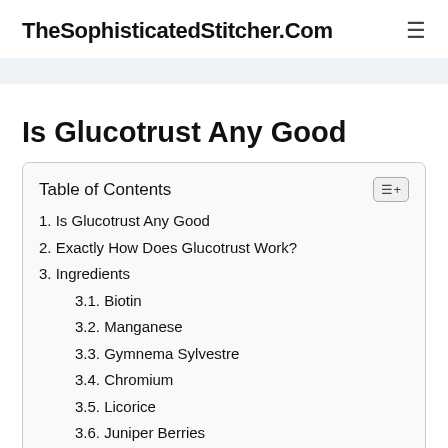TheSophisticatedStitcher.Com
Is Glucotrust Any Good
1. Is Glucotrust Any Good
2. Exactly How Does Glucotrust Work?
3. Ingredients
3.1. Biotin
3.2. Manganese
3.3. Gymnema Sylvestre
3.4. Chromium
3.5. Licorice
3.6. Juniper Berries